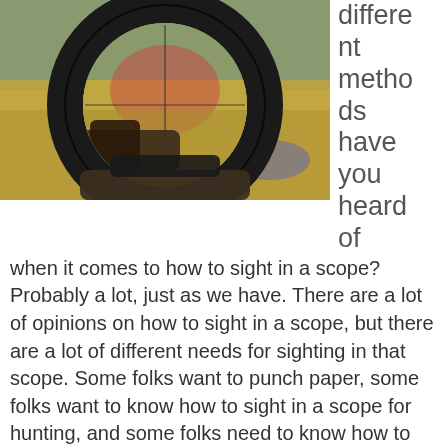[Figure (photo): Close-up view through a rifle scope showing crosshairs over a dry grassy landscape with rocks, outdoors hunting scene]
different methods have you heard of when it comes to how to sight in a scope? Probably a lot, just as we have. There are a lot of opinions on how to sight in a scope, but there are a lot of different needs for sighting in that scope. Some folks want to punch paper, some folks want to know how to sight in a scope for hunting, and some folks need to know how to sight in a scope for tactical use.
We're somewhere in the middle with our approach to how to sight in a scope. We don't shoot in the benchrest or tactical disciplines, but we have fairly demanding needs for high degrees of accuracy and